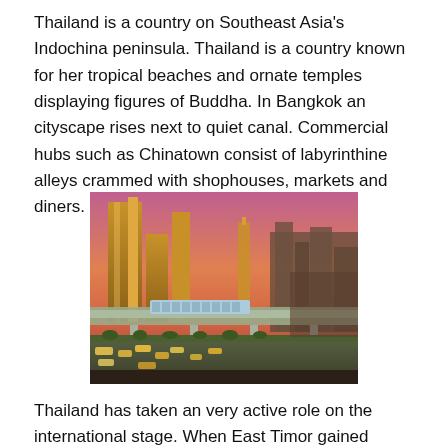Thailand is a country on Southeast Asia's Indochina peninsula. Thailand is a country known for her tropical beaches and ornate temples displaying figures of Buddha. In Bangkok an cityscape rises next to quiet canal. Commercial hubs such as Chinatown consist of labyrinthine alleys crammed with shophouses, markets and diners.
[Figure (photo): Aerial/elevated view of Bangkok cityscape at sunset/dusk, showing tall golden skyscrapers, an elevated train/rail line with a train, heavy traffic below, and a colorful pink-orange sky.]
Thailand has taken an very active role on the international stage. When East Timor gained independence from Indonesia, Thailand, for the first time in its history,